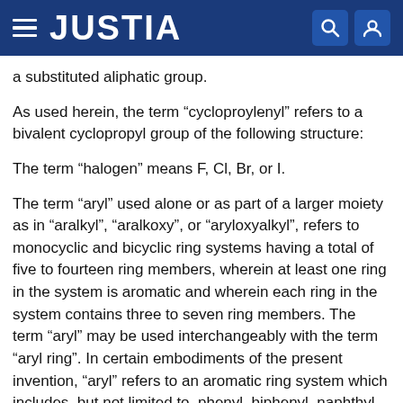JUSTIA
a substituted aliphatic group.
As used herein, the term “cycloproylenyl” refers to a bivalent cyclopropyl group of the following structure:
The term “halogen” means F, Cl, Br, or I.
The term “aryl” used alone or as part of a larger moiety as in “aralkyl”, “aralkoxy”, or “aryloxyalkyl”, refers to monocyclic and bicyclic ring systems having a total of five to fourteen ring members, wherein at least one ring in the system is aromatic and wherein each ring in the system contains three to seven ring members. The term “aryl” may be used interchangeably with the term “aryl ring”. In certain embodiments of the present invention, “aryl” refers to an aromatic ring system which includes, but not limited to, phenyl, biphenyl, naphthyl, anthracyl and the like, which may bear one or more substituents.